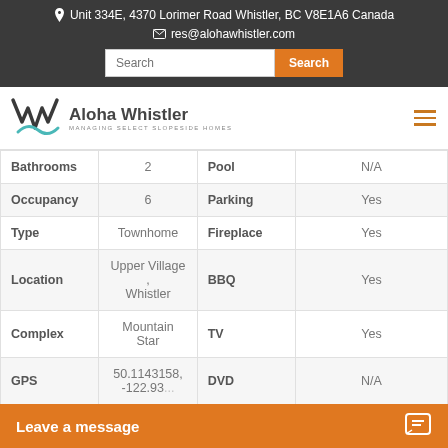Unit 334E, 4370 Lorimer Road Whistler, BC V8E1A6 Canada
res@alohawhistler.com
[Figure (logo): Aloha Whistler logo with W mark and teal wave, text: Aloha Whistler, MANAGING SELECT SLOPESIDE HOMES]
|  |  |  |  |
| --- | --- | --- | --- |
| Bathrooms | 2 | Pool | N/A |
| Occupancy | 6 | Parking | Yes |
| Type | Townhome | Fireplace | Yes |
| Location | Upper Village , Whistler | BBQ | Yes |
| Complex | Mountain Star | TV | Yes |
| GPS | 50.1143158, -122.93... | DVD | N/A |
| Ski Access | Yes |  |  |
Leave a message